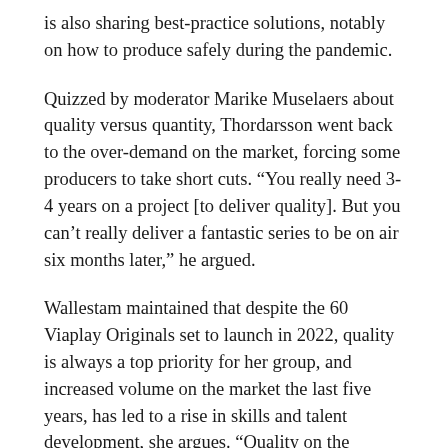is also sharing best-practice solutions, notably on how to produce safely during the pandemic.
Quizzed by moderator Marike Muselaers about quality versus quantity, Thordarsson went back to the over-demand on the market, forcing some producers to take short cuts. “You really need 3-4 years on a project [to deliver quality]. But you can’t really deliver a fantastic series to be on air six months later,” he argued.
Wallestam maintained that despite the 60 Viaplay Originals set to launch in 2022, quality is always a top priority for her group, and increased volume on the market the last five years, has led to a rise in skills and talent development, she argues. “Quality on the